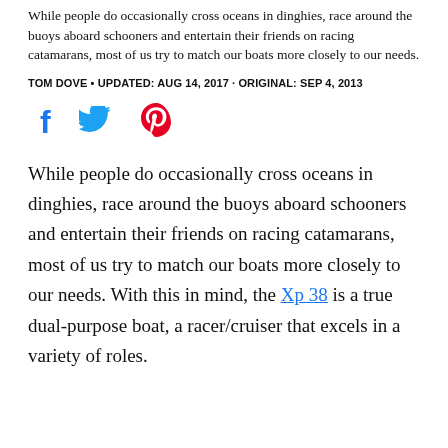While people do occasionally cross oceans in dinghies, race around the buoys aboard schooners and entertain their friends on racing catamarans, most of us try to match our boats more closely to our needs.
TOM DOVE • UPDATED: AUG 14, 2017 · ORIGINAL: SEP 4, 2013
[Figure (other): Social media share icons: Facebook (f), Twitter (bird), Pinterest (P)]
While people do occasionally cross oceans in dinghies, race around the buoys aboard schooners and entertain their friends on racing catamarans, most of us try to match our boats more closely to our needs. With this in mind, the Xp 38 is a true dual-purpose boat, a racer/cruiser that excels in a variety of roles.